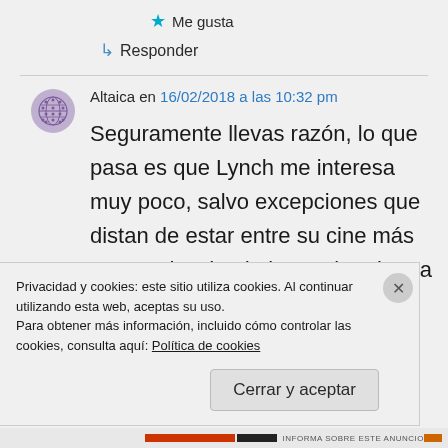★ Me gusta
↳ Responder
Altaica en 16/02/2018 a las 10:32 pm
Seguramente llevas razón, lo que pasa es que Lynch me interesa muy poco, salvo excepciones que distan de estar entre su cine más personal y, desde luego, la primera de la lista
Privacidad y cookies: este sitio utiliza cookies. Al continuar utilizando esta web, aceptas su uso.
Para obtener más información, incluido cómo controlar las cookies, consulta aquí: Política de cookies
Cerrar y aceptar
INFORMA SOBRE ESTE ANUNCIO